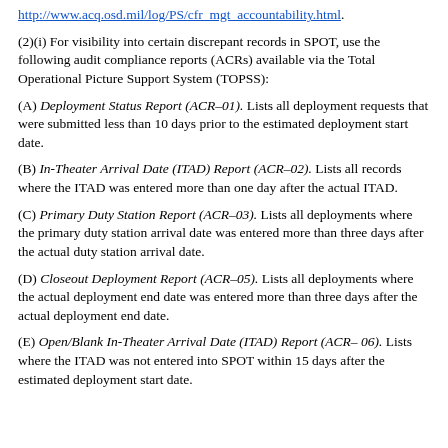http://www.acq.osd.mil/log/PS/cfr_mgt_accountability.html.
(2)(i) For visibility into certain discrepant records in SPOT, use the following audit compliance reports (ACRs) available via the Total Operational Picture Support System (TOPSS):
(A) Deployment Status Report (ACR–01). Lists all deployment requests that were submitted less than 10 days prior to the estimated deployment start date.
(B) In-Theater Arrival Date (ITAD) Report (ACR–02). Lists all records where the ITAD was entered more than one day after the actual ITAD.
(C) Primary Duty Station Report (ACR–03). Lists all deployments where the primary duty station arrival date was entered more than three days after the actual duty station arrival date.
(D) Closeout Deployment Report (ACR–05). Lists all deployments where the actual deployment end date was entered more than three days after the actual deployment end date.
(E) Open/Blank In-Theater Arrival Date (ITAD) Report (ACR– 06). Lists where the ITAD was not entered into SPOT within 15 days after the estimated deployment start date.